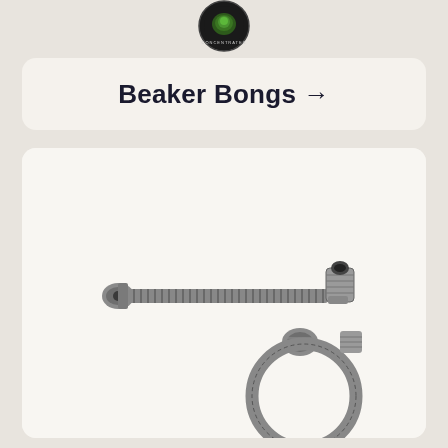[Figure (logo): Circular logo with green and black design, text 'CONCENTRATES' around the edge]
Beaker Bongs →
[Figure (photo): Two metal spiral/coil flexible pipes or smoking devices with threaded bowl pieces, silver/steel finish, on white background]